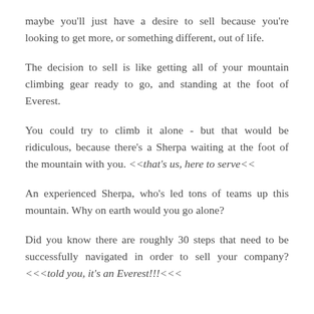maybe you'll just have a desire to sell because you're looking to get more, or something different, out of life.
The decision to sell is like getting all of your mountain climbing gear ready to go, and standing at the foot of Everest.
You could try to climb it alone - but that would be ridiculous, because there's a Sherpa waiting at the foot of the mountain with you. <<that's us, here to serve<<
An experienced Sherpa, who's led tons of teams up this mountain. Why on earth would you go alone?
Did you know there are roughly 30 steps that need to be successfully navigated in order to sell your company? <<<told you, it's an Everest!!!<<<